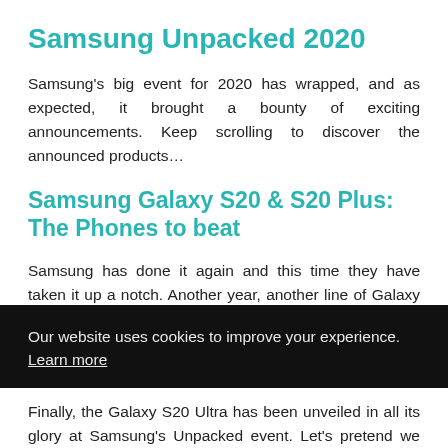Samsung Unpacked 2020
Samsung’s big event for 2020 has wrapped, and as expected, it brought a bounty of exciting announcements. Keep scrolling to discover the announced products…
Samsung Galaxy S20 & S20 Plus: The Phones to beat
Samsung has done it again and this time they have taken it up a notch. Another year, another line of Galaxy flagships but this time they decided to change the naming scheme.
Our website uses cookies to improve your experience.
Learn more
Accept !
Finally, the Galaxy S20 Ultra has been unveiled in all its glory at Samsung’s Unpacked event. Let’s pretend we did not